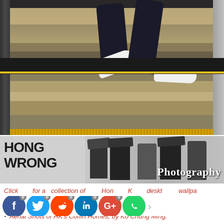[Figure (photo): A person jumping through subway train doors at a Hong Kong MTR station. Only the legs and white sneakers are visible, mid-air above the platform floor markings with directional arrows and a yellow safety line.]
[Figure (photo): Black and white banner image showing people with cameras against a blurred background. Text reads HONG WRONG on the left. White italic label reading 'Photography' overlaid on right side.]
Click here for a collection of Hong Kong desktop wallpapers. You may enjoy...
Aerial Shots of HK's Coffin Homes, by Ko Chung Ming.